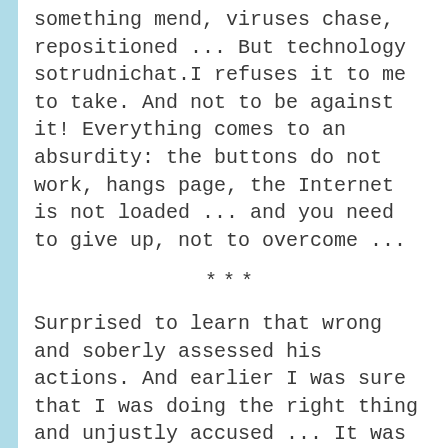something mend, viruses chase, repositioned ... But technology sotrudnichat.I refuses it to me to take. And not to be against it! Everything comes to an absurdity: the buttons do not work, hangs page, the Internet is not loaded ... and you need to give up, not to overcome ...
***
Surprised to learn that wrong and soberly assessed his actions. And earlier I was sure that I was doing the right thing and unjustly accused ... It was as if she lived in fear for his own skin, blind and deaf ...
Knowing myself, I understand the other. I apologize for my oshibki.Prihodit calm,